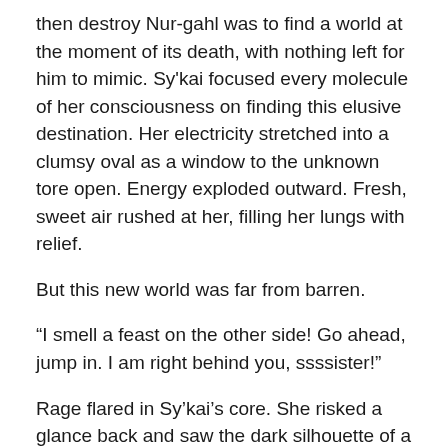then destroy Nur-gahl was to find a world at the moment of its death, with nothing left for him to mimic. Sy'kai focused every molecule of her consciousness on finding this elusive destination. Her electricity stretched into a clumsy oval as a window to the unknown tore open. Energy exploded outward. Fresh, sweet air rushed at her, filling her lungs with relief.
But this new world was far from barren.
“I smell a feast on the other side! Go ahead, jump in. I am right behind you, ssssister!”
Rage flared in Sy’kai’s core. She risked a glance back and saw the dark silhouette of a gargantuan, monstrous creature racing toward her. She faced the portal again and plunged through.